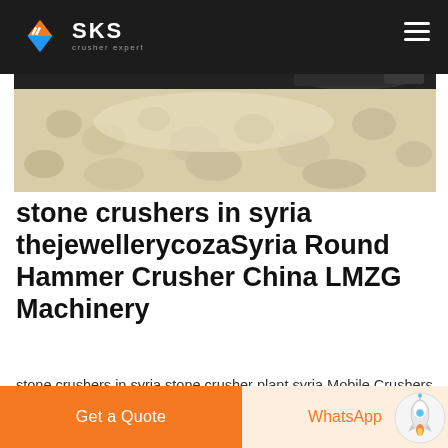SKS crusher expert
[Figure (photo): Aerial or close-up photo of crushed stone/gravel pile, sandy/beige colored aggregate material with heavy machinery visible in upper portion]
stone crushers in syria thejewellerycozaSyria Round Hammer Crusher China LMZG Machinery
stone crushers in syria stone crusher plant syria Mobile Crushers all over the stone crusher plant syria heavy industry is specialized in the design manufacture and supply of crushing Syria Round Hammer Crusher Stone Crusher Plant Syria cz eueu Traduire cette page Hammer
Get a Quote   WhatsApp